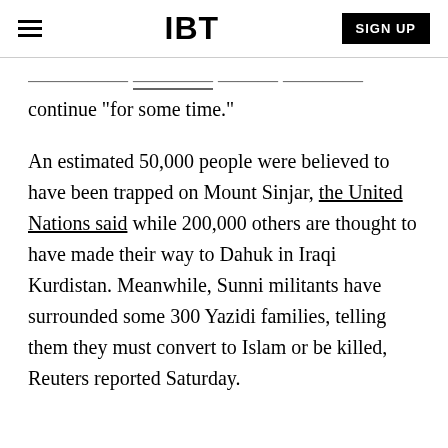IBT | SIGN UP
... continue "for some time."
An estimated 50,000 people were believed to have been trapped on Mount Sinjar, the United Nations said while 200,000 others are thought to have made their way to Dahuk in Iraqi Kurdistan. Meanwhile, Sunni militants have surrounded some 300 Yazidi families, telling them they must convert to Islam or be killed, Reuters reported Saturday.